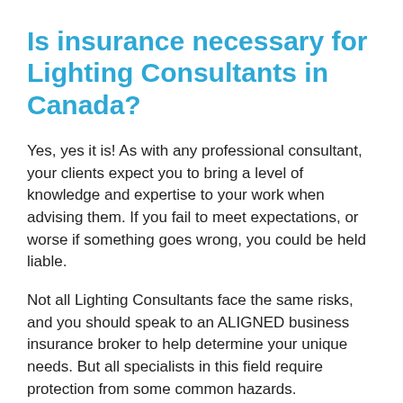Is insurance necessary for Lighting Consultants in Canada?
Yes, yes it is! As with any professional consultant, your clients expect you to bring a level of knowledge and expertise to your work when advising them. If you fail to meet expectations, or worse if something goes wrong, you could be held liable.
Not all Lighting Consultants face the same risks, and you should speak to an ALIGNED business insurance broker to help determine your unique needs. But all specialists in this field require protection from some common hazards.
The right insurance for